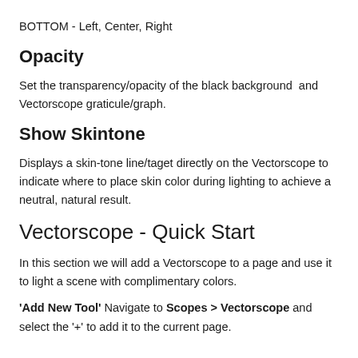BOTTOM - Left, Center, Right
Opacity
Set the transparency/opacity of the black background  and Vectorscope graticule/graph.
Show Skintone
Displays a skin-tone line/taget directly on the Vectorscope to indicate where to place skin color during lighting to achieve a neutral, natural result.
Vectorscope - Quick Start
In this section we will add a Vectorscope to a page and use it to light a scene with complimentary colors.
'Add New Tool' Navigate to Scopes > Vectorscope and select the '+' to add it to the current page.